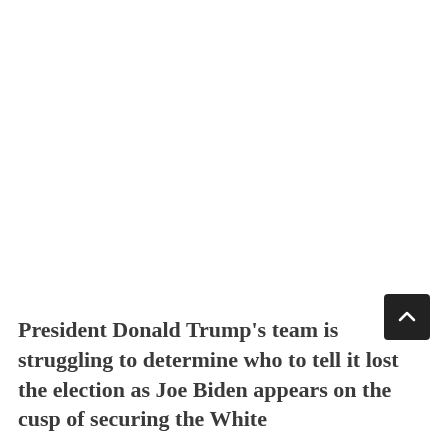President Donald Trump's team is struggling to determine who to tell it lost the election as Joe Biden appears on the cusp of securing the White